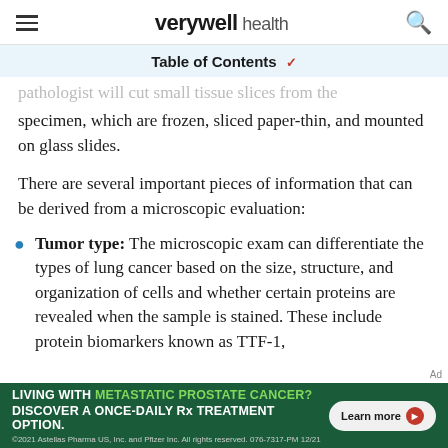verywell health
Table of Contents
pathologist will cut small tissue slices from the specimen, which are frozen, sliced paper-thin, and mounted on glass slides.
There are several important pieces of information that can be derived from a microscopic evaluation:
Tumor type: The microscopic exam can differentiate the types of lung cancer based on the size, structure, and organization of cells and whether certain proteins are revealed when the sample is stained. These include protein biomarkers known as TTF-1,
[Figure (infographic): Green advertisement banner: LIVING WITH METASTATIC PROSTATE CANCER? DISCOVER A ONCE-DAILY Rx TREATMENT OPTION. Learn more button. ©2021 Astellas Pharma US, Inc. and Pfizer Inc. All rights reserved. 076-7317-PM 12/21]